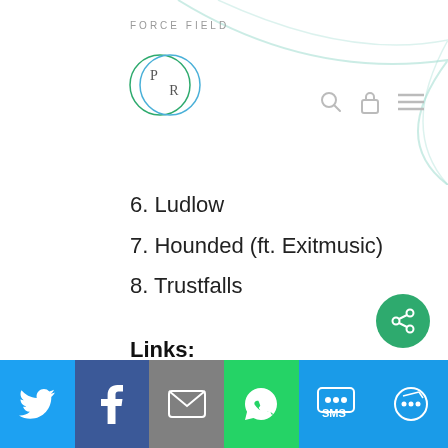FORCE FIELD
6. Ludlow
7. Hounded (ft. Exitmusic)
8. Trustfalls
Links:
Website // Facebook // Twitter // Label
Twitter | Facebook | Email | WhatsApp | SMS | More